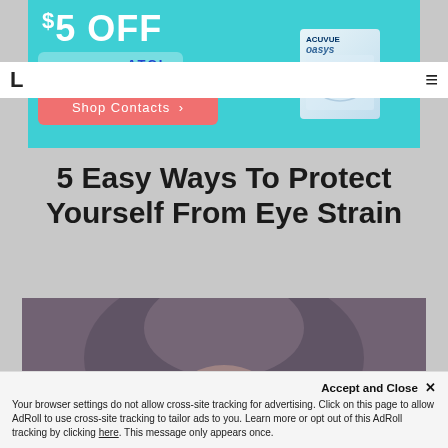[Figure (screenshot): Advertisement banner for contact lenses with teal background showing '$5 OFF', coupon code 'ATCL', 'Shop Contacts' button, and Acuvue Oasys product box with hands]
5 Easy Ways To Protect Yourself From Eye Strain
[Figure (photo): Photo of a person with glasses, partially visible, looking upward with dark hair covering their face]
Accept and Close ✕
Your browser settings do not allow cross-site tracking for advertising. Click on this page to allow AdRoll to use cross-site tracking to tailor ads to you. Learn more or opt out of this AdRoll tracking by clicking here. This message only appears once.